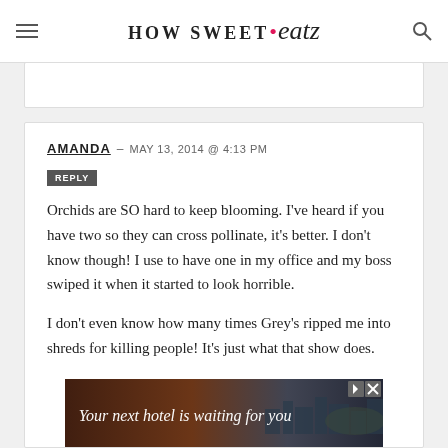HOW SWEET eats
AMANDA – MAY 13, 2014 @ 4:13 PM
REPLY
Orchids are SO hard to keep blooming. I've heard if you have two so they can cross pollinate, it's better. I don't know though! I use to have one in my office and my boss swiped it when it started to look horrible.
I don't even know how many times Grey's ripped me into shreds for killing people! It's just what that show does.
[Figure (screenshot): Advertisement banner: 'Your next hotel is waiting for you' on a dark red/brown background with a city skyline photo]